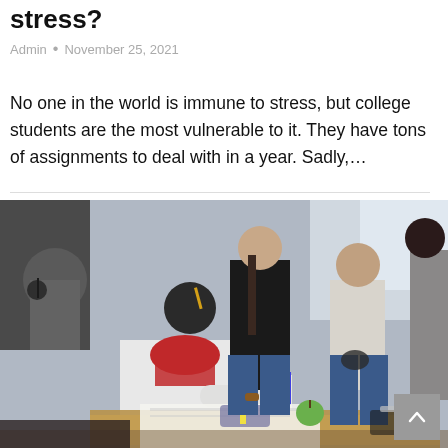stress?
Admin • November 25, 2021
No one in the world is immune to stress, but college students are the most vulnerable to it. They have tons of assignments to deal with in a year. Sadly,…
[Figure (photo): Students sitting around a table in a classroom, collaborating. One student in the foreground wearing a red scarf and white shirt holds markers over papers on a desk. Other students are seated on desks in the background near windows.]